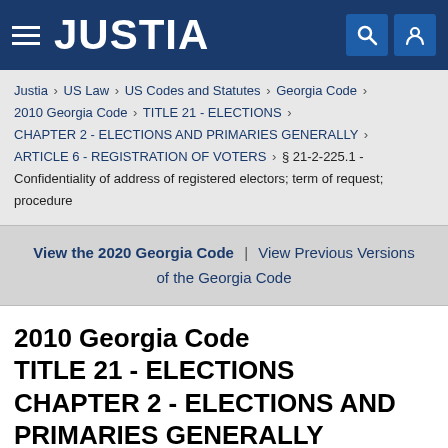JUSTIA
Justia › US Law › US Codes and Statutes › Georgia Code › 2010 Georgia Code › TITLE 21 - ELECTIONS › CHAPTER 2 - ELECTIONS AND PRIMARIES GENERALLY › ARTICLE 6 - REGISTRATION OF VOTERS › § 21-2-225.1 - Confidentiality of address of registered electors; term of request; procedure
View the 2020 Georgia Code | View Previous Versions of the Georgia Code
2010 Georgia Code TITLE 21 - ELECTIONS CHAPTER 2 - ELECTIONS AND PRIMARIES GENERALLY ARTICLE 6 - REGISTRATION OF